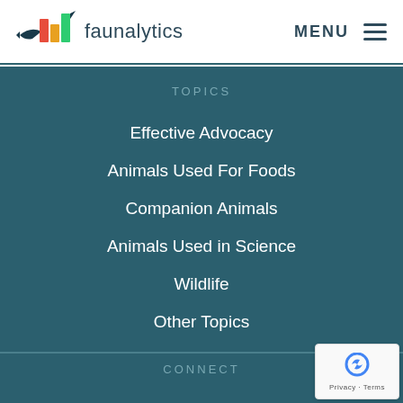[Figure (logo): Faunalytics logo with colorful bar chart icon and fish silhouette, followed by 'faunalytics' text]
MENU ≡
TOPICS
Effective Advocacy
Animals Used For Foods
Companion Animals
Animals Used in Science
Wildlife
Other Topics
CONNECT
[Figure (other): reCAPTCHA badge with Privacy and Terms links]